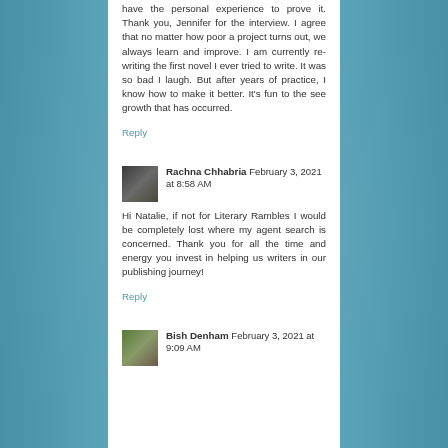have the personal experience to prove it. Thank you, Jennifer for the interview. I agree that no matter how poor a project turns out, we always learn and improve. I am currently re-writing the first novel I ever tried to write. It was so bad I laugh. But after years of practice, I know how to make it better. It's fun to the see growth that has occurred.
Reply
Rachna Chhabria February 3, 2021 at 8:58 AM
Hi Natalie, if not for Literary Rambles I would be completely lost where my agent search is concerned. Thank you for all the time and energy you invest in helping us writers in our publishing journey!
Reply
Bish Denham February 3, 2021 at 9:09 AM